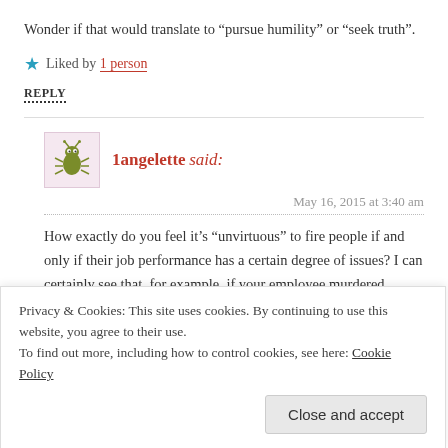Wonder if that would translate to “pursue humility” or “seek truth”.
Liked by 1 person
REPLY
1angelette said:
May 16, 2015 at 3:40 am
How exactly do you feel it’s “unvirtuous” to fire people if and only if their job performance has a certain degree of issues? I can certainly see that, for example, if your employee murdered
Privacy & Cookies: This site uses cookies. By continuing to use this website, you agree to their use.
To find out more, including how to control cookies, see here: Cookie Policy
Close and accept